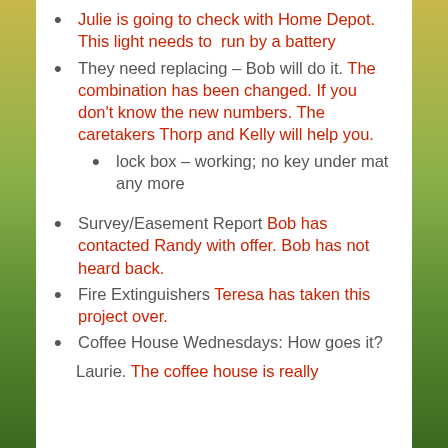Julie is going to check with Home Depot. This light needs to run by a battery
They need replacing – Bob will do it. The combination has been changed. If you don't know the new numbers. The caretakers Thorp and Kelly will help you.
lock box – working; no key under mat any more
Survey/Easement Report Bob has contacted Randy with offer. Bob has not heard back.
Fire Extinguishers Teresa has taken this project over.
Coffee House Wednesdays: How goes it? Laurie. The coffee house is really
Laurie. The coffee house is really